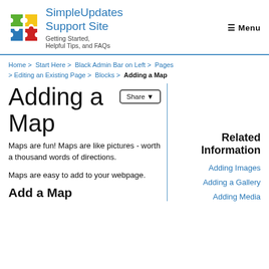SimpleUpdates Support Site — Getting Started, Helpful Tips, and FAQs — Menu
Home > Start Here > Black Admin Bar on Left > Pages > Editing an Existing Page > Blocks > Adding a Map
Adding a Map
Maps are fun! Maps are like pictures - worth a thousand words of directions.
Maps are easy to add to your webpage.
Add a Map
Related Information
Adding Images
Adding a Gallery
Adding Media